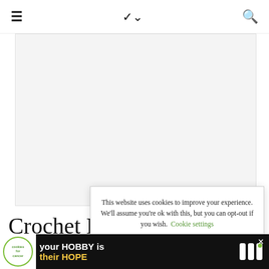≡  ∨  🔍
[Figure (other): Blank advertisement area / image placeholder with light gray background]
This website uses cookies to improve your experience. We'll assume you're ok with this, but you can opt-out if you wish. Cookie settings  ACCEPT
Crochet Headband and Ear
[Figure (other): Bottom banner advertisement: 'your HOBBY is their HOPE' cookies for cancer promotion with logo]